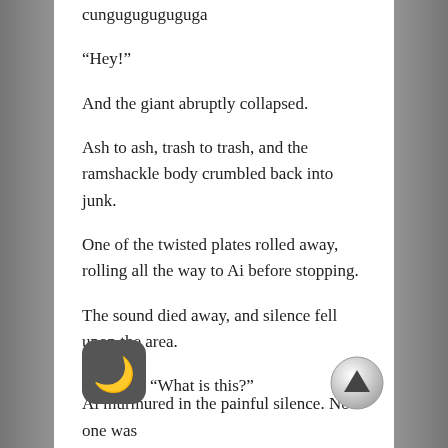cunguguguguguga
“Hey!”
And the giant abruptly collapsed.
Ash to ash, trash to trash, and the ramshackle body crumbled back into junk.
One of the twisted plates rolled away, rolling all the way to Ai before stopping.
The sound died away, and silence fell upon the area.
“What is this?”
Ai murmured in the painful silence. No one was